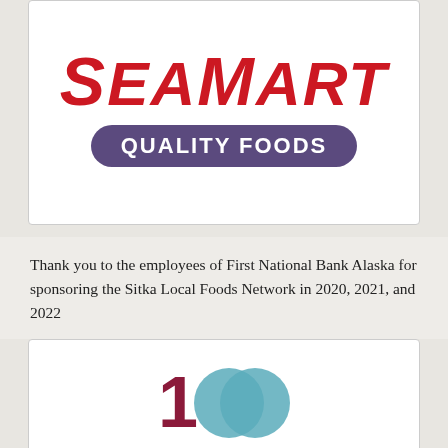[Figure (logo): SeaMart Quality Foods logo — bold red italic 'SeaMart' text above a purple pill-shaped badge reading 'QUALITY FOODS' in white uppercase letters]
Thank you to the employees of First National Bank Alaska for sponsoring the Sitka Local Foods Network in 2020, 2021, and 2022
[Figure (logo): First National Bank Alaska '100' anniversary logo — dark red numeral 1 followed by two overlapping teal circles forming stylized double-zero]